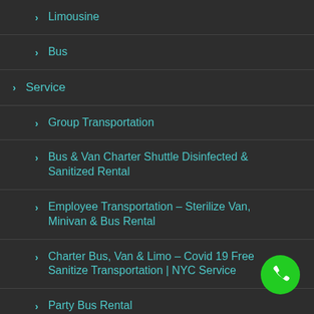Limousine
Bus
Service
Group Transportation
Bus & Van Charter Shuttle Disinfected & Sanitized Rental
Employee Transportation – Sterilize Van, Minivan & Bus Rental
Charter Bus, Van & Limo – Covid 19 Free Sanitize Transportation | NYC Service
Party Bus Rental
First Responders Transportation